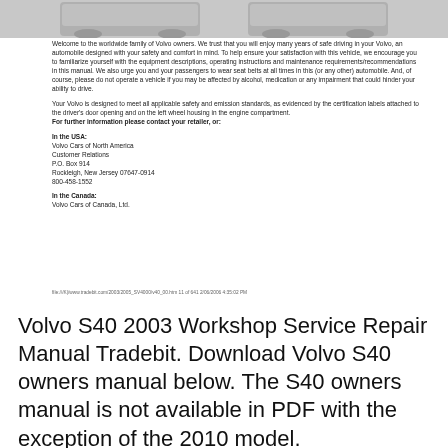[Figure (photo): Partial view of car/automobile images at top of page, grayscale]
Welcome to the worldwide family of Volvo owners. We trust that you will enjoy many years of safe driving in your Volvo, an automobile designed with your safety and comfort in mind. To help ensure your satisfaction with this vehicle, we encourage you to familiarize yourself with the equipment descriptions, operating instructions and maintenance requirements/recommendations in this manual. We also urge you and your passengers to wear seat belts at all times in this (or any other) automobile. And, of course, please do not operate a vehicle if you may be affected by alcohol, medication or any impairment that could hinder your ability to drive.
Your Volvo is designed to meet all applicable safety and emission standards, as evidenced by the certification labels attached to the driver's door opening and on the left wheel housing in the engine compartment.
For further information please contact your retailer, or:
In the USA:
Volvo Cars of North America
Customer Relations
P.O. Box 914
Rockleigh, New Jersey 07647-0914
800-458-1552
In the Canada:
Volvo Cars of Canada, Ltd.
file:///K|/www.tradebit.com/2003/2005_SV4000/v40_00.htm 11 of 641 2/06/2006 4:35:02 PM
Volvo S40 2003 Workshop Service Repair Manual Tradebit. Download Volvo S40 owners manual below. The S40 owners manual is not available in PDF with the exception of the 2010 model.